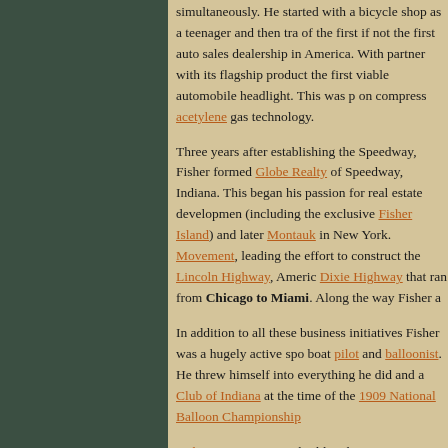simultaneously. He started with a bicycle shop as a teenager and then tra of the first if not the first auto sales dealership in America. With partner with its flagship product the first viable automobile headlight. This was p on compress acetylene gas technology.
Three years after establishing the Speedway, Fisher formed Globe Realty of Speedway, Indiana. This began his passion for real estate development (including the exclusive Fisher Island) and later Montauk in New York. Movement, leading the effort to construct the Lincoln Highway, America Dixie Highway that ran from Chicago to Miami. Along the way Fisher a
In addition to all these business initiatives Fisher was a hugely active spo boat pilot and balloonist. He threw himself into everything he did and a Club of Indiana at the time of the 1909 National Balloon Championship
Fisher's manic pace at building businesses was only matched by his frene and philandering. Both sides of his lifestyle scale carried the same qualit factors beyond his control to upend him financially. The great Miami hur